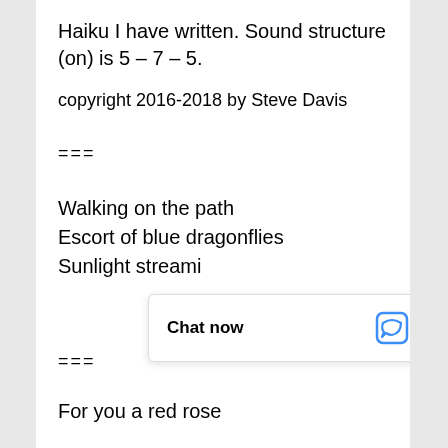Haiku I have written. Sound structure (on) is 5 – 7 – 5.
copyright 2016-2018 by Steve Davis
===
Walking on the path
Escort of blue dragonflies
Sunlight streami...
===
For you a red rose